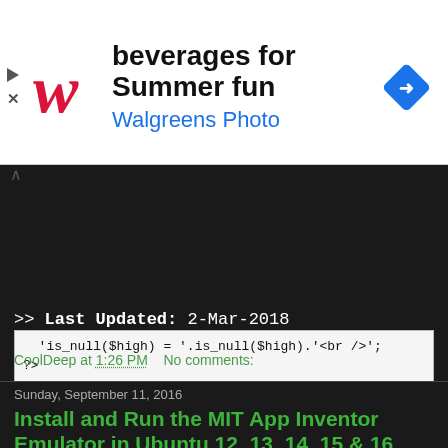[Figure (screenshot): Walgreens advertisement banner with logo, text 'beverages for Summer fun Walgreens Photo', and a blue diamond navigation icon]
'is_null($high) = '.is_null($high).'<br />';
?>
>> Last Updated: 2-Mar-2018
CoolDeep at 1:26 PM   No comments:
Sunday, September 11, 2016
Install and Run the MIT App Inventor Emulator in Ubuntu 12, 13, 14, 15 & 16
[Figure (screenshot): Android emulator window titled '5554:<build>' showing phone screen with status bar, blue area, and partial app interface]